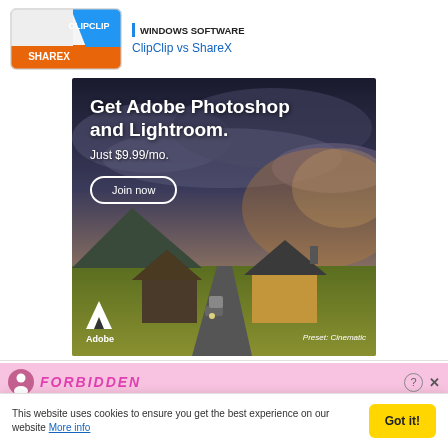[Figure (logo): ClipClip vs ShareX software logos combined — ClipClip in blue/white at top, ShareX in orange at bottom]
WINDOWS SOFTWARE
ClipClip vs ShareX
[Figure (photo): Adobe advertisement: landscape photo of farmhouses on green plains under dramatic cloudy sky. Text overlaid: 'Get Adobe Photoshop and Lightroom. Just $9.99/mo.' with 'Join now' button, Adobe logo bottom-left, 'Preset: Cinematic' bottom-right.]
[Figure (screenshot): Bottom advertisement strip with pink background showing Forbidden website branding with person icon, stylized text, help icon and X button]
This website uses cookies to ensure you get the best experience on our website More info
Got it!